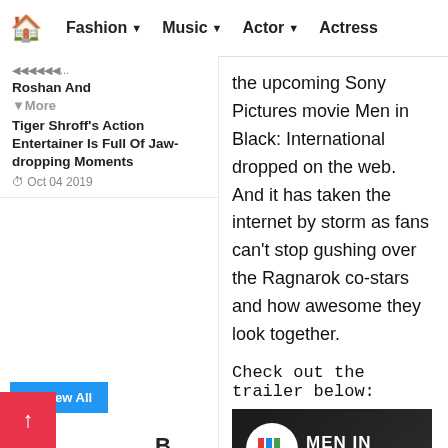🏠 Fashion ▼ Music ▼ Actor ▼ Actress
the upcoming Sony Pictures movie Men in Black: International dropped on the web. And it has taken the internet by storm as fans can't stop gushing over the Ragnarok co-stars and how awesome they look together.
Check out the trailer below:
Roshan And More
Tiger Shroff's Action Entertainer Is Full Of Jaw-dropping Moments
Oct 04 2019
[Figure (screenshot): YouTube video thumbnail for Men in Black: International trailer showing Sony Pictures logo, two actors, and the movie title overlay on dark background]
View All
B I G S T O R
Sye Raa Narasi mha